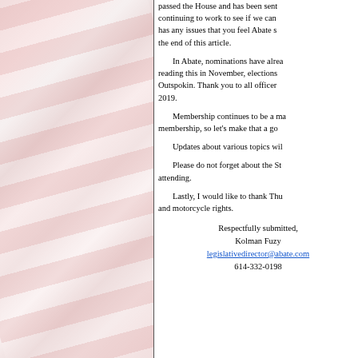[Figure (photo): American flag image, faded/washed out pink and white tones, occupying the left column of the page]
passed the House and has been sent continuing to work to see if we can has any issues that you feel Abate s the end of this article.
In Abate, nominations have alrea reading this in November, elections Outspokin. Thank you to all officer 2019.
Membership continues to be a m membership, so let's make that a go
Updates about various topics wil
Please do not forget about the St attending.
Lastly, I would like to thank Thu and motorcycle rights.
Respectfully submitted,
Kolman Fuzy
legislativedirector@abate.com
614-332-0198